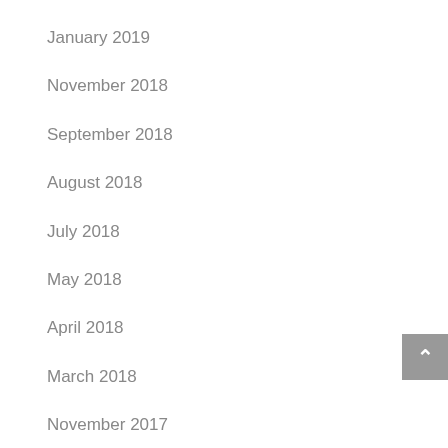January 2019
November 2018
September 2018
August 2018
July 2018
May 2018
April 2018
March 2018
November 2017
October 2017
September 2017